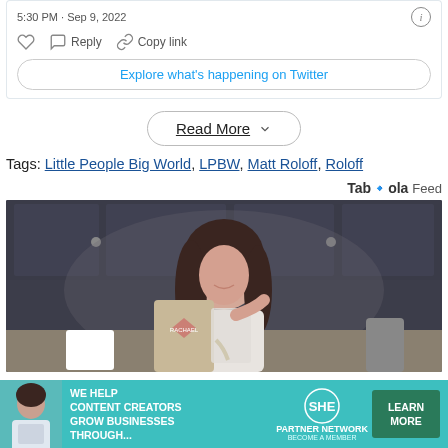5:30 PM · Sep 9, 2022
Reply   Copy link
Explore what's happening on Twitter
Read More
Tags: Little People Big World, LPBW, Matt Roloff, Roloff
Taboola Feed
[Figure (photo): Woman smiling in kitchen pouring from a bag labeled Rachael, with dark cabinets in the background]
[Figure (infographic): Advertisement banner: WE HELP CONTENT CREATORS GROW BUSINESSES THROUGH... SHE PARTNER NETWORK BECOME A MEMBER - LEARN MORE button]